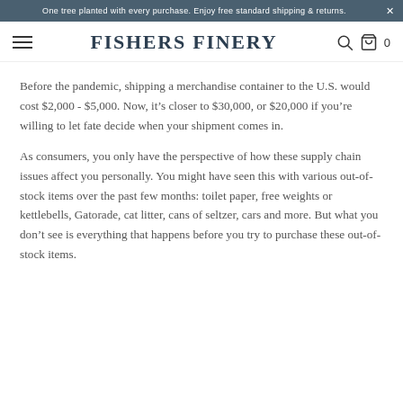One tree planted with every purchase. Enjoy free standard shipping & returns.
FISHERS FINERY
Before the pandemic, shipping a merchandise container to the U.S. would cost $2,000 - $5,000. Now, it’s closer to $30,000, or $20,000 if you’re willing to let fate decide when your shipment comes in.
As consumers, you only have the perspective of how these supply chain issues affect you personally. You might have seen this with various out-of-stock items over the past few months: toilet paper, free weights or kettlebells, Gatorade, cat litter, cans of seltzer, cars and more. But what you don’t see is everything that happens before you try to purchase these out-of-stock items.